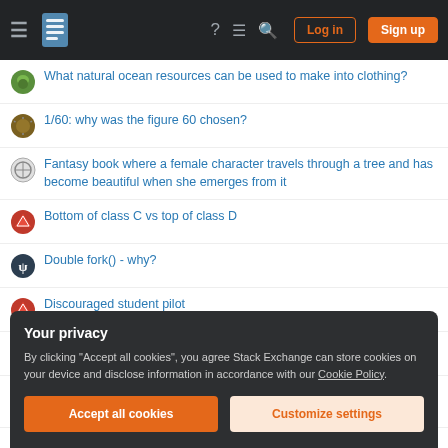Stack Exchange navigation header with Log in and Sign up buttons
What natural ocean resources can be used to make into clothing?
1/60: why was the figure 60 chosen?
Fantasy book where a female character travels through a tree and has become beautiful when she emerges from it
Bottom of class C vs top of class D
Double fork() - why?
Discouraged student pilot
Father of a nation and his children
What is this "loose faceplate ring" and is it something that should be fixed?
Your privacy
By clicking "Accept all cookies", you agree Stack Exchange can store cookies on your device and disclose information in accordance with our Cookie Policy.
Accept all cookies | Customize settings